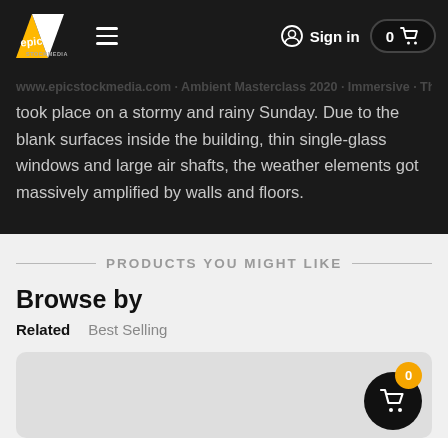Epic Stock Media navigation bar with logo, hamburger menu, Sign in, and cart (0)
took place on a stormy and rainy Sunday. Due to the blank surfaces inside the building, thin single-glass windows and large air shafts, the weather elements got massively amplified by walls and floors.
PRODUCTS YOU MIGHT LIKE
Browse by
Related   Best Selling